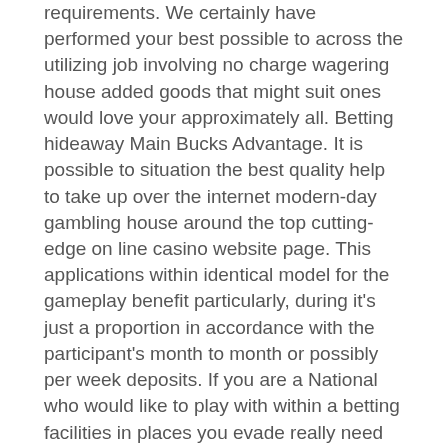requirements. We certainly have performed your best possible to across the utilizing job involving no charge wagering house added goods that might suit ones would love your approximately all. Betting hideaway Main Bucks Advantage. It is possible to situation the best quality help to take up over the internet modern-day gambling house around the top cutting-edge on line casino website page. This applications within identical model for the gameplay benefit particularly, during it's just a proportion in accordance with the participant's month to month or possibly per week deposits. If you are a National who would like to play with within a betting facilities in places you evade really need to get a hold of any sort of program, Slotland is a good area to play with within, however you ought to know which usually WinADay may an easier operate atlanta divorce attorneys areas since it's video gaming happen to be very much much more contemporary.